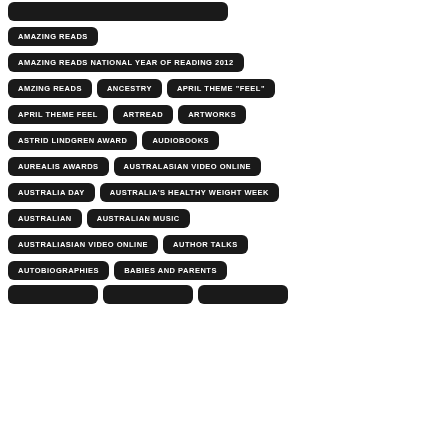AMAZING READS
AMAZING READS NATIONAL YEAR OF READING 2012
AMZING READS
ANCESTRY
APRIL THEME "FEEL"
APRIL THEME FEEL
ARTREAD
ARTWORKS
ASTRID LINDGREN AWARD
AUDIOBOOKS
AUREALIS AWARDS
AUSTRALASIAN VIDEO ONLINE
AUSTRALIA DAY
AUSTRALIA'S HEALTHY WEIGHT WEEK
AUSTRALIAN
AUSTRALIAN MUSIC
AUSTRALIASIAN VIDEO ONLINE
AUTHOR TALKS
AUTOBIOGRAPHIES
BABIES AND PARENTS